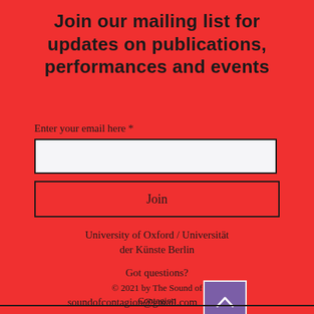Join our mailing list for updates on publications, performances and events
Enter your email here *
Join
University of Oxford / Universität der Künste Berlin
Got questions?
soundofcontagion@gmail.com
© 2021 by The Sound of Contagion